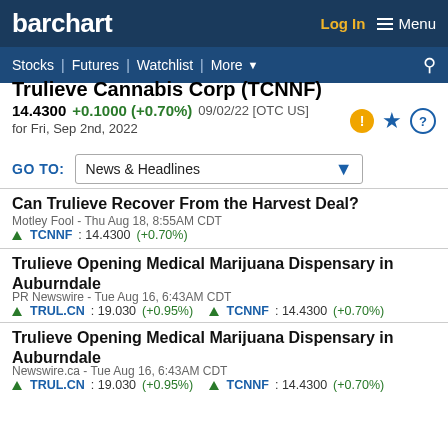barchart | Log In | Menu | Stocks | Futures | Watchlist | More
Trulieve Cannabis Corp (TCNNF)
14.4300 +0.1000 (+0.70%) 09/02/22 [OTC US] for Fri, Sep 2nd, 2022
GO TO: News & Headlines
Can Trulieve Recover From the Harvest Deal?
Motley Fool - Thu Aug 18, 8:55AM CDT
TCNNF : 14.4300 (+0.70%)
Trulieve Opening Medical Marijuana Dispensary in Auburndale
PR Newswire - Tue Aug 16, 6:43AM CDT
TRUL.CN : 19.030 (+0.95%)   TCNNF : 14.4300 (+0.70%)
Trulieve Opening Medical Marijuana Dispensary in Auburndale
Newswire.ca - Tue Aug 16, 6:43AM CDT
TRUL.CN : 19.030 (+0.95%)   TCNNF : 14.4300 (+0.70%)